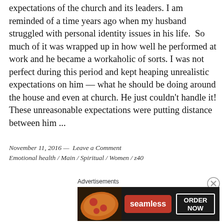expectations of the church and its leaders. I am reminded of a time years ago when my husband struggled with personal identity issues in his life.  So much of it was wrapped up in how well he performed at work and he became a workaholic of sorts. I was not perfect during this period and kept heaping unrealistic expectations on him — what he should be doing around the house and even at church. He just couldn't handle it! These unreasonable expectations were putting distance between him ...
November 11, 2016 —  Leave a Comment
Emotional health / Main / Spiritual / Women / z40
[Figure (other): Seamless food delivery advertisement banner showing pizza image on the left, Seamless logo in red, and ORDER NOW button with white border on dark background]